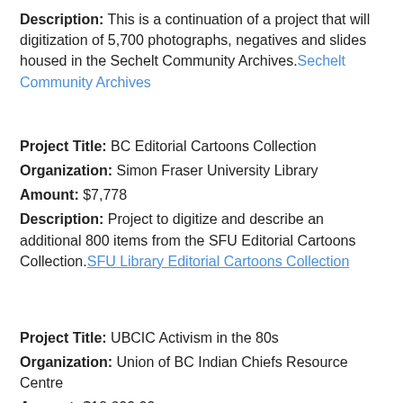Description: This is a continuation of a project that will digitization of 5,700 photographs, negatives and slides housed in the Sechelt Community Archives. Sechelt Community Archives
Project Title: BC Editorial Cartoons Collection
Organization: Simon Fraser University Library
Amount: $7,778
Description: Project to digitize and describe an additional 800 items from the SFU Editorial Cartoons Collection. SFU Library Editorial Cartoons Collection
Project Title: UBCIC Activism in the 80s
Organization: Union of BC Indian Chiefs Resource Centre
Amount: $12,600.00